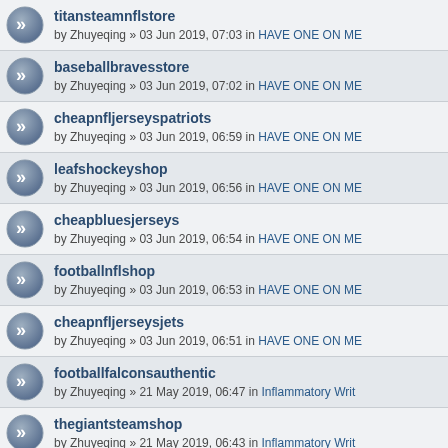titansteamnflstore by Zhuyeqing » 03 Jun 2019, 07:03 in HAVE ONE ON ME
baseballbravesstore by Zhuyeqing » 03 Jun 2019, 07:02 in HAVE ONE ON ME
cheapnfljerseyspatriots by Zhuyeqing » 03 Jun 2019, 06:59 in HAVE ONE ON ME
leafshockeyshop by Zhuyeqing » 03 Jun 2019, 06:56 in HAVE ONE ON ME
cheapbluesjerseys by Zhuyeqing » 03 Jun 2019, 06:54 in HAVE ONE ON ME
footballnflshop by Zhuyeqing » 03 Jun 2019, 06:53 in HAVE ONE ON ME
cheapnfljerseysjets by Zhuyeqing » 03 Jun 2019, 06:51 in HAVE ONE ON ME
footballfalconsauthentic by Zhuyeqing » 21 May 2019, 06:47 in Inflammatory Writ
thegiantsteamshop by Zhuyeqing » 21 May 2019, 06:43 in Inflammatory Writ
cheapbengalsjerseys by Zhuyeqing » 21 May 2019, 06:40 in Inflammatory Writ
cheapnbagrizzliesjerseys by Zhuyeqing » 21 May 2019, 06:39 in Inflammatory Writ
cheapseahawksjerseys (partial, clipped)